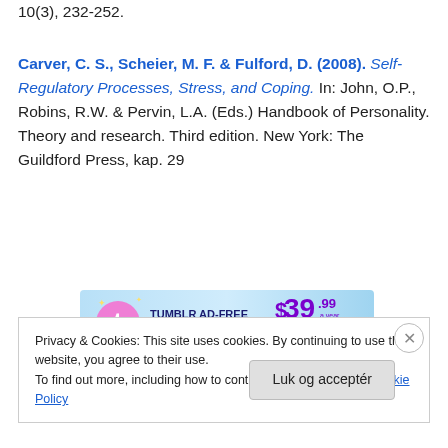10(3), 232-252.
Carver, C. S., Scheier, M. F. & Fulford, D. (2008). Self-Regulatory Processes, Stress, and Coping. In: John, O.P., Robins, R.W. & Pervin, L.A. (Eds.) Handbook of Personality. Theory and research. Third edition. New York: The Guildford Press, kap. 29
[Figure (other): Tumblr Ad-Free Browsing banner advertisement. Shows Tumblr logo, text 'TUMBLR AD-FREE BROWSING', price '$39.99 a year or $4.99 a month' on blue gradient background.]
REPORT THIS AD
Privacy & Cookies: This site uses cookies. By continuing to use this website, you agree to their use.
To find out more, including how to control cookies, see here: Cookie Policy
Luk og acceptér